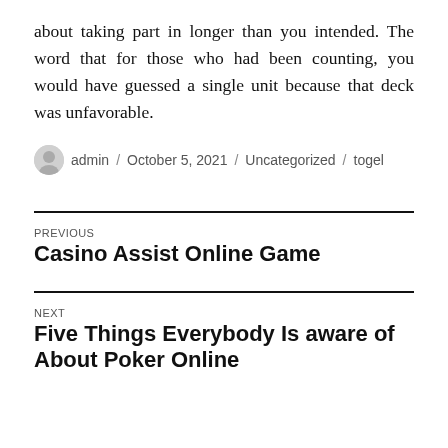about taking part in longer than you intended. The word that for those who had been counting, you would have guessed a single unit because that deck was unfavorable.
admin / October 5, 2021 / Uncategorized / togel
PREVIOUS
Casino Assist Online Game
NEXT
Five Things Everybody Is aware of About Poker Online